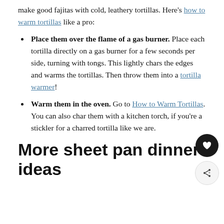make good fajitas with cold, leathery tortillas. Here's how to warm tortillas like a pro:
Place them over the flame of a gas burner. Place each tortilla directly on a gas burner for a few seconds per side, turning with tongs. This lightly chars the edges and warms the tortillas. Then throw them into a tortilla warmer!
Warm them in the oven. Go to How to Warm Tortillas. You can also char them with a kitchen torch, if you're a stickler for a charred tortilla like we are.
More sheet pan dinner ideas